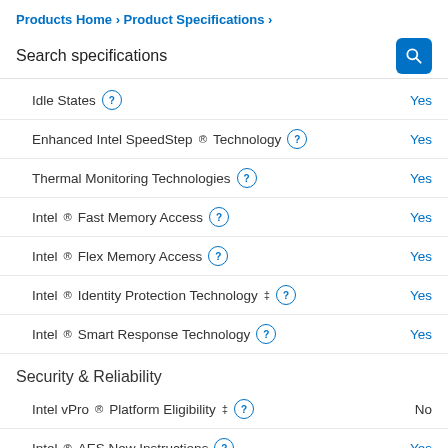Products Home › Product Specifications ›
Search specifications
Idle States  Yes
Enhanced Intel SpeedStep® Technology  Yes
Thermal Monitoring Technologies  Yes
Intel® Fast Memory Access  Yes
Intel® Flex Memory Access  Yes
Intel® Identity Protection Technology ‡  Yes
Intel® Smart Response Technology  Yes
Security & Reliability
Intel vPro® Platform Eligibility ‡  No
Intel® AES New Instructions  Yes